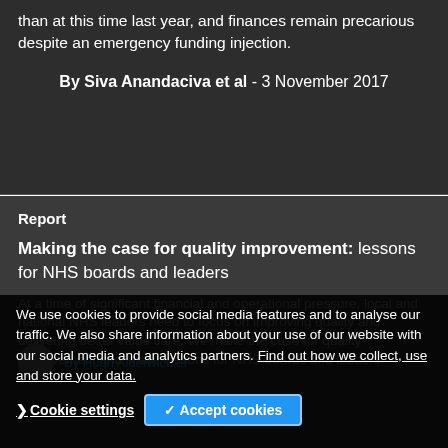than at this time last year, and finances remain precarious despite an emergency funding injection.
By Siva Anandaciva et al - 3 November 2017
Report
Making the case for quality improvement: lessons for NHS boards and leaders
At a time of significant financial and operational pressure, local and national NHS leaders need to focus on improving quality and delivering better value care. We make the case for quality improvement and share lessons for NHS boards and leaders.
By Hugh Alderwick et...
We use cookies to provide social media features and to analyse our traffic. We also share information about your use of our website with our social media and analytics partners. Find out how we collect, use and store your data.